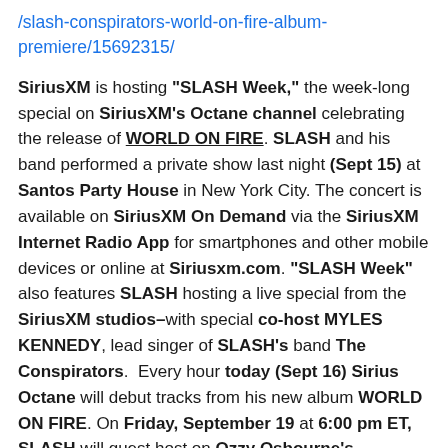/slash-conspirators-world-on-fire-album-premiere/15692315/
SiriusXM is hosting "SLASH Week," the week-long special on SiriusXM's Octane channel celebrating the release of WORLD ON FIRE. SLASH and his band performed a private show last night (Sept 15) at Santos Party House in New York City. The concert is available on SiriusXM On Demand via the SiriusXM Internet Radio App for smartphones and other mobile devices or online at Siriusxm.com. "SLASH Week" also features SLASH hosting a live special from the SiriusXM studios–with special co-host MYLES KENNEDY, lead singer of SLASH's band The Conspirators. Every hour today (Sept 16) Sirius Octane will debut tracks from his new album WORLD ON FIRE. On Friday, September 19 at 6:00 pm ET, SLASH will guest host on Ozzy Osbourne's